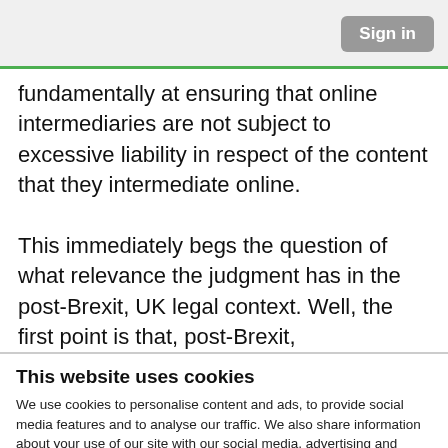Sign in
fundamentally at ensuring that online intermediaries are not subject to excessive liability in respect of the content that they intermediate online.
This immediately begs the question of what relevance the judgment has in the post-Brexit, UK legal context. Well, the first point is that, post-Brexit,
This website uses cookies
We use cookies to personalise content and ads, to provide social media features and to analyse our traffic. We also share information about your use of our site with our social media, advertising and analytics partners who may combine it with other information that you've provided to them or that they've collected from your use of their services. You consent to our cookies if you continue to use our website.
OK
Necessary  Preferences  Statistics  Marketing  Show details